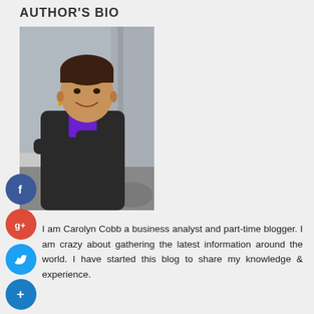AUTHOR'S BIO
[Figure (photo): Professional portrait photo of Carolyn Cobb, a woman in a dark blazer with purple shirt, arms crossed, smiling, posed in front of an architectural background.]
I am Carolyn Cobb a business analyst and part-time blogger. I am crazy about gathering the latest information around the world. I have started this blog to share my knowledge & experience.